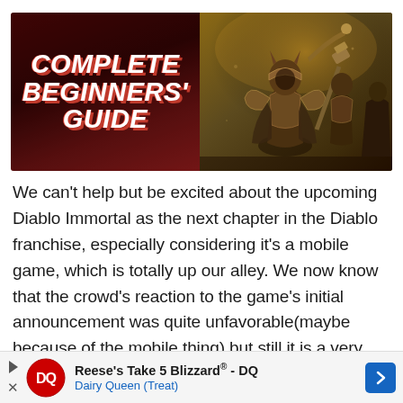[Figure (illustration): Split hero image: left half shows 'COMPLETE BEGINNERS' GUIDE' text in bold italic white with red shadow on dark red background; right half shows fantasy game characters (armored warriors) in warm brown/gold tones — Diablo Immortal promotional art.]
We can't help but be excited about the upcoming Diablo Immortal as the next chapter in the Diablo franchise, especially considering it's a mobile game, which is totally up our alley. We now know that the crowd's reaction to the game's initial announcement was quite unfavorable(maybe because of the mobile thing) but still it is a very fun and engaging game to play. Let's go over the basics.
[Figure (infographic): Advertisement banner: Reese's Take 5 Blizzard® - DQ / Dairy Queen (Treat) with Dairy Queen logo and blue navigation arrow.]